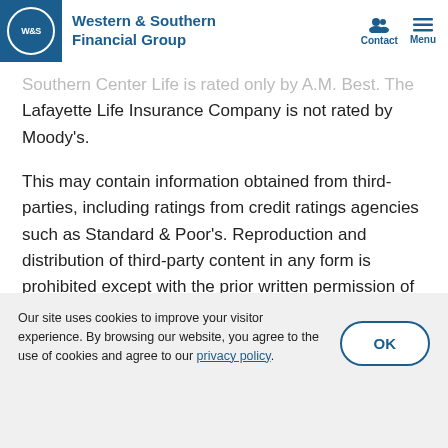Western & Southern Financial Group
Southern Center Life is rated only by A.M. Best. The Lafayette Life Insurance Company is not rated by Moody's.
This may contain information obtained from third-parties, including ratings from credit ratings agencies such as Standard & Poor's. Reproduction and distribution of third-party content in any form is prohibited except with the prior written permission of the related third-party. Third-party content providers do not
Our site uses cookies to improve your visitor experience. By browsing our website, you agree to the use of cookies and agree to our privacy policy.